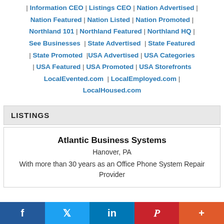| Information CEO | Listings CEO | Nation Advertised | Nation Featured | Nation Listed | Nation Promoted | Northland 101 | Northland Featured | Northland HQ | See Businesses | State Advertised | State Featured | State Promoted |USA Advertised | USA Categories | USA Featured | USA Promoted | USA Storefronts LocalEvented.com | LocalEmployed.com | LocalHoused.com
LISTINGS
Atlantic Business Systems
Hanover, PA
With more than 30 years as an Office Phone System Repair Provider
f | tweet | in | P | +